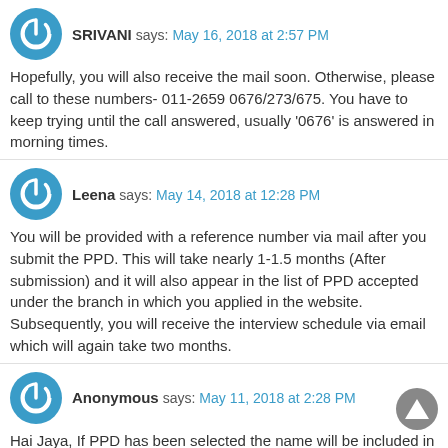SRIVANI says: May 16, 2018 at 2:57 PM
Hopefully, you will also receive the mail soon. Otherwise, please call to these numbers- 011-2659 0676/273/675. You have to keep trying until the call answered, usually '0676' is answered in morning times.
Leena says: May 14, 2018 at 12:28 PM
You will be provided with a reference number via mail after you submit the PPD. This will take nearly 1-1.5 months (After submission) and it will also appear in the list of PPD accepted under the branch in which you applied in the website. Subsequently, you will receive the interview schedule via email which will again take two months.
Anonymous says: May 11, 2018 at 2:28 PM
Hai Jaya, If PPD has been selected the name will be included in "LIST OF PPD ACCEPTED". They won't send any email regarding this. We have to check it. Mostly it will take 2 months for acceptance. After acceptance you have to wait for the interview atleast 3 to 4 months.